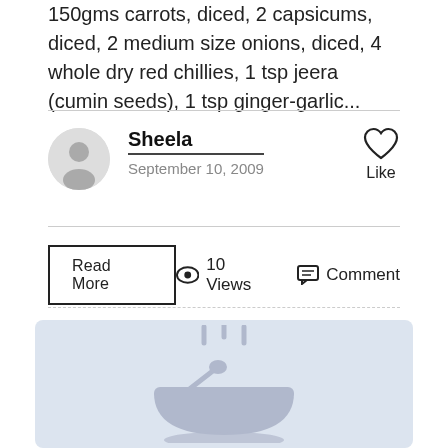150gms carrots, diced, 2 capsicums, diced, 2 medium size onions, diced, 4 whole dry red chillies, 1 tsp jeera (cumin seeds), 1 tsp ginger-garlic...
Sheela
September 10, 2009
Read More  10 Views  Comment
[Figure (illustration): Placeholder cooking pot illustration on light blue-grey background, showing a bowl/pot with a spoon and steam lines above it]